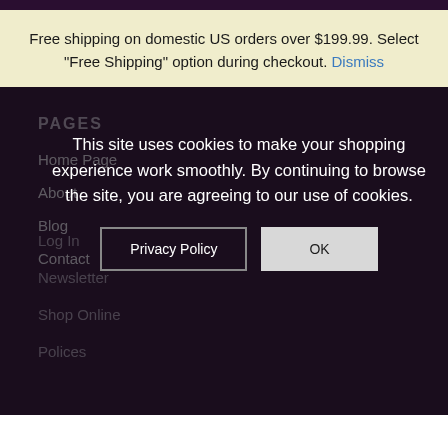Free shipping on domestic US orders over $199.99. Select "Free Shipping" option during checkout. Dismiss
PAGES
Home Page
About
Blog
Contact
Log In
Newsletter
Shop Online
Polices
This site uses cookies to make your shopping experience work smoothly. By continuing to browse the site, you are agreeing to our use of cookies.
Privacy Policy
OK